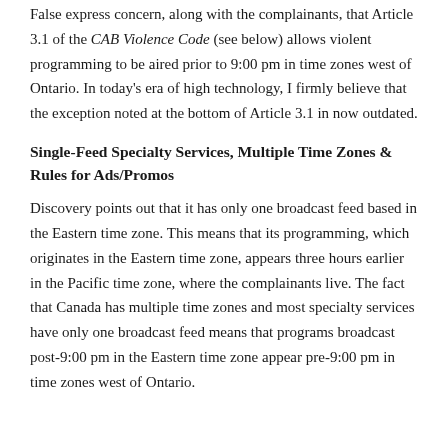False express concern, along with the complainants, that Article 3.1 of the CAB Violence Code (see below) allows violent programming to be aired prior to 9:00 pm in time zones west of Ontario. In today's era of high technology, I firmly believe that the exception noted at the bottom of Article 3.1 in now outdated.
Single-Feed Specialty Services, Multiple Time Zones & Rules for Ads/Promos
Discovery points out that it has only one broadcast feed based in the Eastern time zone. This means that its programming, which originates in the Eastern time zone, appears three hours earlier in the Pacific time zone, where the complainants live. The fact that Canada has multiple time zones and most specialty services have only one broadcast feed means that programs broadcast post-9:00 pm in the Eastern time zone appear pre-9:00 pm in time zones west of Ontario.